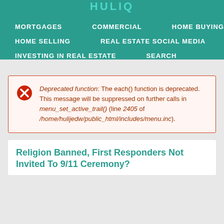HULIQ
MORTGAGES
COMMERCIAL
HOME BUYING
HOME SELLING
REAL ESTATE SOCIAL MEDIA
INVESTING IN REAL ESTATE
SEARCH
Deprecated function: The each() function is deprecated. This message will be suppressed on further calls in menu_set_active_trail() (line 2405 of /home/hulijedw/public_html/includes/menu.inc).
Religion Banned, First Responders Not Invited To 9/11 Ceremony?